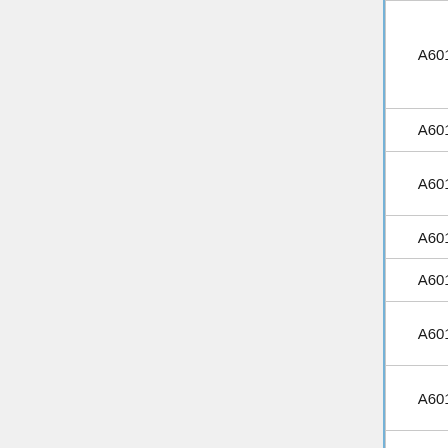| Road Number | Description | Classification |
| --- | --- | --- |
| A6010 | ring. Higher Broughton - Miles Platting - Belle Vue Fallowfield - Fallowfield - Chorlton - Cum - Hardy. | Prima... |
| A6012 | Link at Bamford Station. |  |
| A6013 | Bamford Station - Bamford - Ashopton. |  |
| A6014 | Corby. |  |
| A6015 | Newton - Hatfield. |  |
| A6016 | Glossop (Turnlee Road, Primrose lane.) |  |
| A6017 | E.of Stockport - Denton - Ashton under Lyne. | Prima... |
|  | Mottram in |  |